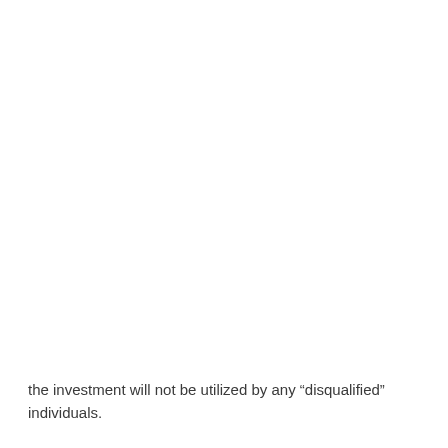the investment will not be utilized by any “disqualified” individuals.